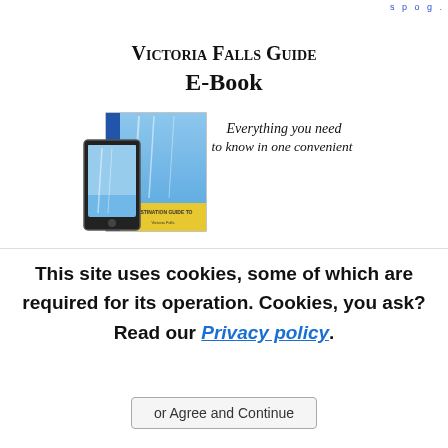...p...g...
[Figure (illustration): Victoria Falls Guide E-Book advertisement banner showing a book and smartphone with waterfall imagery, text reads 'Victoria Falls Guide E-Book - Everything you need to know in one convenient']
This site uses cookies, some of which are required for its operation. Cookies, you ask? Read our Privacy policy.
or Agree and Continue